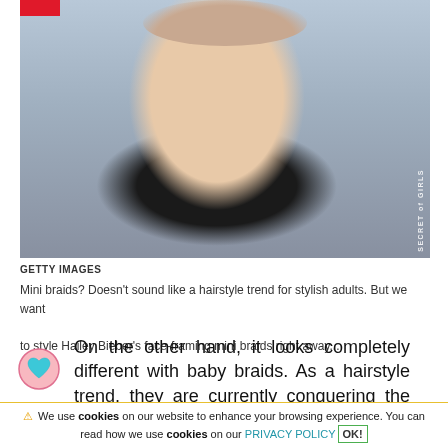[Figure (photo): Woman with blonde hair in a top bun, wearing a black off-shoulder ruffled dress, posing in front of a Warner Bros. shield logo backdrop. Watermark reads SECRET of GIRLS.]
GETTY IMAGES
Mini braids? Doesn't sound like a hairstyle trend for stylish adults. But we want to style Hailey Bieber's face-framing mini braids right away...
On the other hand, it looks completely different with baby braids. As a hairstyle trend, they are currently conquering the heads of numerous
⚠ We use cookies on our website to enhance your browsing experience. You can read how we use cookies on our PRIVACY POLICY OK!